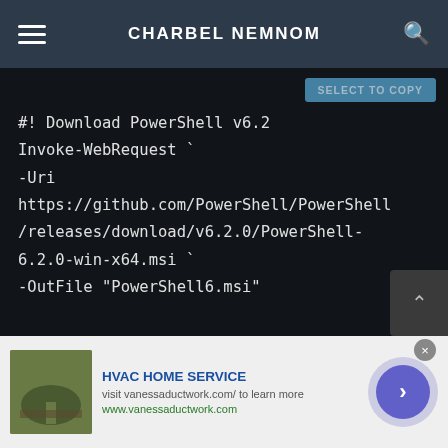CHARBEL NEMNOM
[Figure (screenshot): Dark-themed code block showing PowerShell script with SELECT TO COPY button. Code: #! Download PowerShell v6.2
Invoke-WebRequest `
-Uri
https://github.com/PowerShell/PowerShell/releases/download/v6.2.0/PowerShell-6.2.0-win-x64.msi `
-OutFile "PowerShell6.msi"

#! Install PowerShell v6.2 in Silent
mode]
[Figure (screenshot): Advertisement banner: HVAC HOME SERVICE - visit vanessaductwork.com/ to learn more, www.vanessaductwork.com, with gardening image and arrow button]